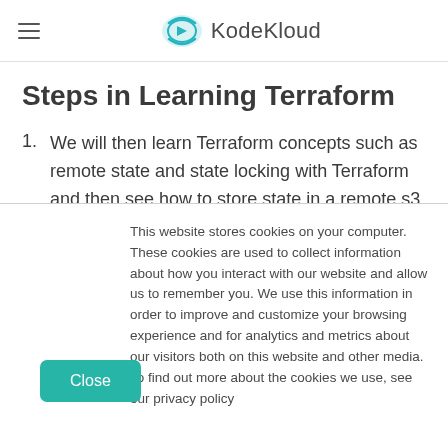KodeKloud
Steps in Learning Terraform
We will then learn Terraform concepts such as remote state and state locking with Terraform and then see how to store state in a remote s3 backend.
Next, we will see how to use terraform state
This website stores cookies on your computer. These cookies are used to collect information about how you interact with our website and allow us to remember you. We use this information in order to improve and customize your browsing experience and for analytics and metrics about our visitors both on this website and other media. To find out more about the cookies we use, see our privacy policy